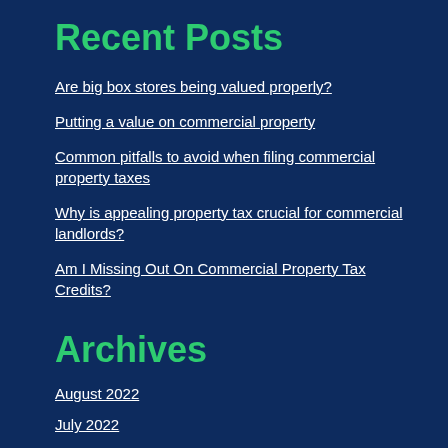Recent Posts
Are big box stores being valued properly?
Putting a value on commercial property
Common pitfalls to avoid when filing commercial property taxes
Why is appealing property tax crucial for commercial landlords?
Am I Missing Out On Commercial Property Tax Credits?
Archives
August 2022
July 2022
June 2022
May 2022
April 2022
October 2021